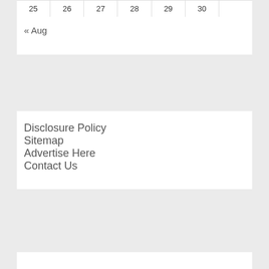| 25 | 26 | 27 | 28 | 29 | 30 |  |
« Aug
Disclosure Policy
Sitemap
Advertise Here
Contact Us